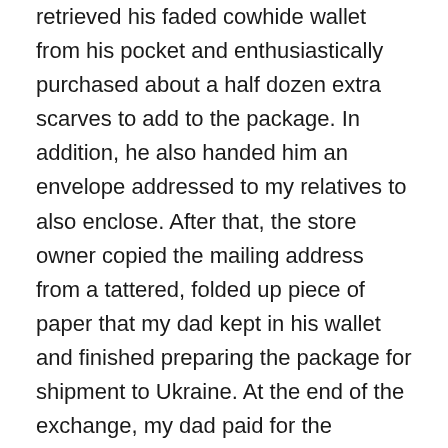retrieved his faded cowhide wallet from his pocket and enthusiastically purchased about a half dozen extra scarves to add to the package. In addition, he also handed him an envelope addressed to my relatives to also enclose. After that, the store owner copied the mailing address from a tattered, folded up piece of paper that my dad kept in his wallet and finished preparing the package for shipment to Ukraine. At the end of the exchange, my dad paid for the scarves, postal fees and services.
Once the door closed behind us, back outside my dad always said the same two phrases and nothing else, “Hope it goes through. Damn communists.”
He bought me a hot sweet potato from a street vendor down the block and refrained from spending any money on a treat for himself. His steps were lighter and easier for